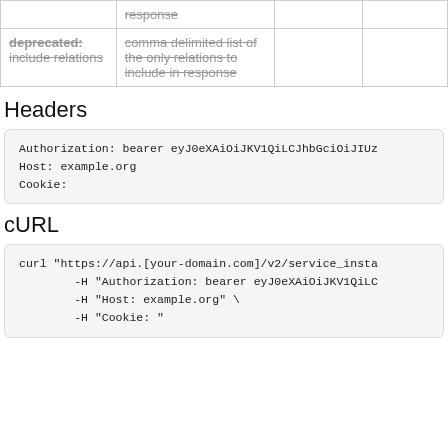|  | response |  |  |
| deprecated: include relations | comma delimited list of the only relations to include in response |  |  |
Headers
Authorization: bearer eyJ0eXAiOiJKV1QiLCJhbGciOiJIUz
Host: example.org
Cookie:
cURL
curl "https://api.[your-domain.com]/v2/service_insta
        -H "Authorization: bearer eyJ0eXAiOiJKV1QiLC
        -H "Host: example.org" \
        -H "Cookie: "